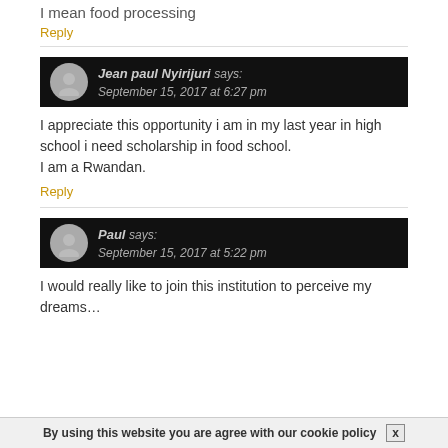I mean food processing
Reply
Jean paul Nyirijuri says: September 15, 2017 at 6:27 pm
I appreciate this opportunity i am in my last year in high school i need scholarship in food school.
I am a Rwandan.
Reply
Paul says: September 15, 2017 at 5:22 pm
I would really like to join this institution to perceive my dreams…
By using this website you are agree with our cookie policy